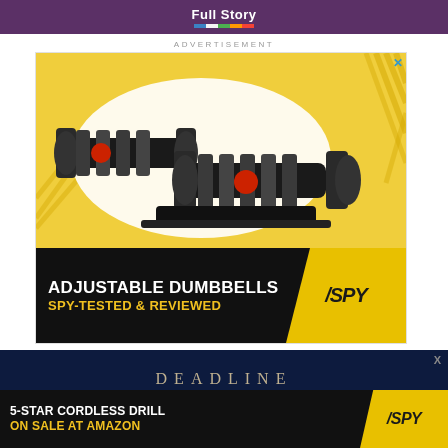Full Story
ADVERTISEMENT
[Figure (photo): Advertisement for adjustable dumbbells from SPY. Shows two adjustable dumbbells on a yellow background with text: ADJUSTABLE DUMBBELLS / SPY-TESTED & REVIEWED, with SPY logo badge.]
[Figure (photo): Dark navy blue section showing DEADLINE masthead text.]
[Figure (photo): Bottom banner advertisement: 5-STAR CORDLESS DRILL ON SALE AT AMAZON, with SPY logo badge.]